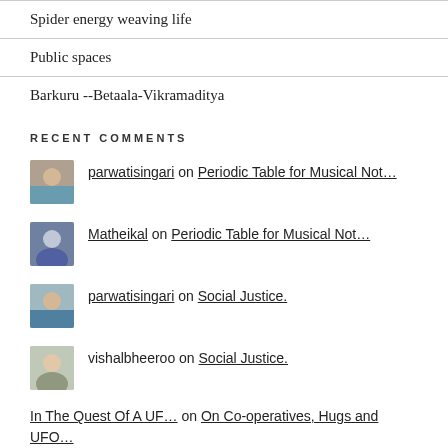Spider energy weaving life
Public spaces
Barkuru --Betaala-Vikramaditya
RECENT COMMENTS
parwatisingari on Periodic Table for Musical Not…
Matheikal on Periodic Table for Musical Not…
parwatisingari on Social Justice.
vishalbheeroo on Social Justice.
In The Quest Of A UF… on On Co-operatives, Hugs and UFO…
A Look At Hugs… on world cooperative day and